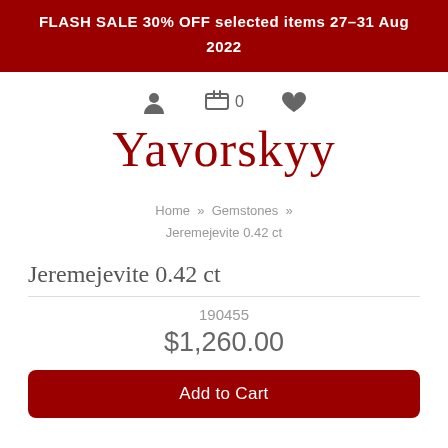FLASH SALE 30% OFF selected items 27–31 Aug 2022
[Figure (infographic): Navigation icons: user account icon, shopping cart with 0 count, and heart/wishlist icon]
Yavorskyy
Home » Gemstones » Jeremejevite 0.42 ct
Jeremejevite 0.42 ct
190455
$1,260.00
Add to Cart